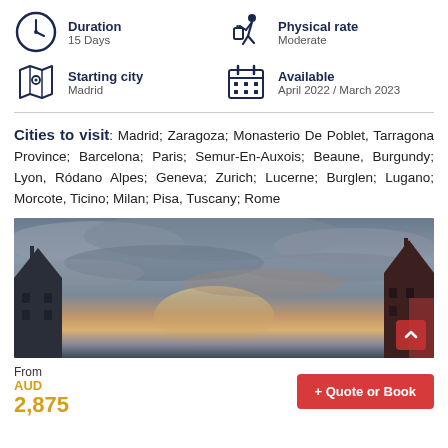Duration
15 Days
Physical rate
Moderate
Starting city
Madrid
Available
April 2022 / March 2023
Cities to visit: Madrid; Zaragoza; Monasterio De Poblet, Tarragona Province; Barcelona; Paris; Semur-En-Auxois; Beaune, Burgundy; Lyon, Ródano Alpes; Geneva; Zurich; Lucerne; Burglen; Lugano; Morcote, Ticino; Milan; Pisa, Tuscany; Rome
[Figure (photo): Panoramic photo of a historic plaza with two ornate towers/spires under a dramatic cloudy sky at dusk]
From
AUD
2,875
+ Quote or Book